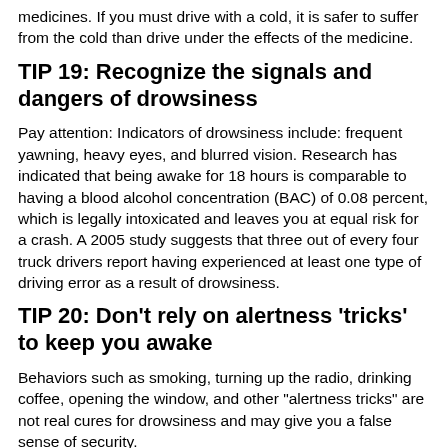medicines. If you must drive with a cold, it is safer to suffer from the cold than drive under the effects of the medicine.
TIP 19: Recognize the signals and dangers of drowsiness
Pay attention: Indicators of drowsiness include: frequent yawning, heavy eyes, and blurred vision. Research has indicated that being awake for 18 hours is comparable to having a blood alcohol concentration (BAC) of 0.08 percent, which is legally intoxicated and leaves you at equal risk for a crash. A 2005 study suggests that three out of every four truck drivers report having experienced at least one type of driving error as a result of drowsiness.
TIP 20: Don't rely on alertness 'tricks' to keep you awake
Behaviors such as smoking, turning up the radio, drinking coffee, opening the window, and other "alertness tricks" are not real cures for drowsiness and may give you a false sense of security.